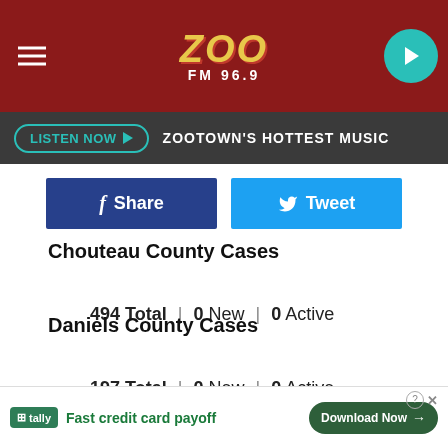ZOO FM 96.9 — LISTEN NOW — ZOOTOWN'S HOTTEST MUSIC
Share  Tweet
Chouteau County Cases
494 Total  |  0 New  |  0 Active
Daniels County Cases
197 Total  |  0 New  |  0 Active
Dawson County Cases
1,100 Total  |  0 New  |  0 Active
Deer L…
Tally — Fast credit card payoff — Download Now